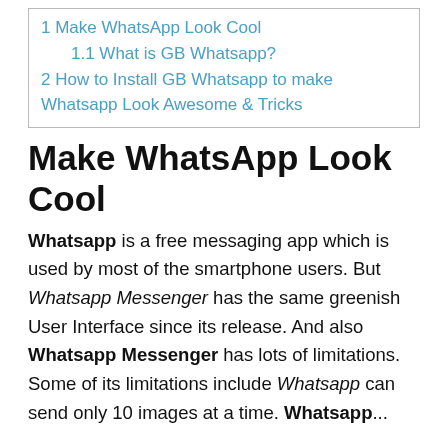1 Make WhatsApp Look Cool
1.1 What is GB Whatsapp?
2 How to Install GB Whatsapp to make Whatsapp Look Awesome & Tricks
Make WhatsApp Look Cool
Whatsapp is a free messaging app which is used by most of the smartphone users. But Whatsapp Messenger has the same greenish User Interface since its release. And also Whatsapp Messenger has lots of limitations. Some of its limitations include Whatsapp can send only 10 images at a time. Whatsapp...